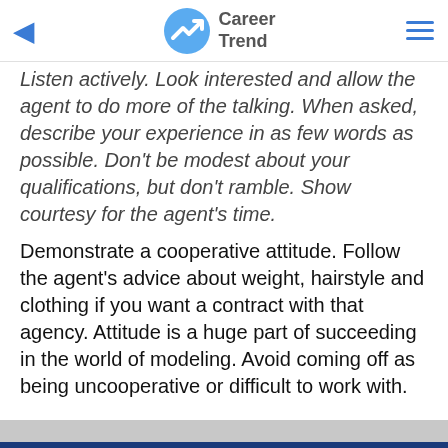Career Trend
Listen actively. Look interested and allow the agent to do more of the talking. When asked, describe your experience in as few words as possible. Don't be modest about your qualifications, but don't ramble. Show courtesy for the agent's time.
Demonstrate a cooperative attitude. Follow the agent's advice about weight, hairstyle and clothing if you want a contract with that agency. Attitude is a huge part of succeeding in the world of modeling. Avoid coming off as being uncooperative or difficult to work with.